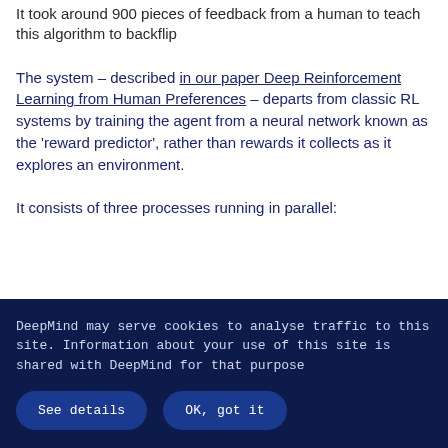It took around 900 pieces of feedback from a human to teach this algorithm to backflip
The system – described in our paper Deep Reinforcement Learning from Human Preferences – departs from classic RL systems by training the agent from a neural network known as the 'reward predictor', rather than rewards it collects as it explores an environment.
It consists of three processes running in parallel:
DeepMind may serve cookies to analyse traffic to this site. Information about your use of this site is shared with DeepMind for that purpose